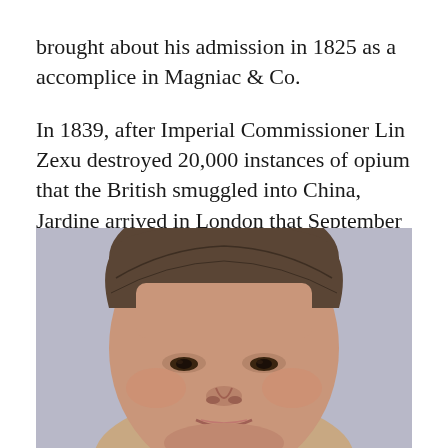brought about his admission in 1825 as a accomplice in Magniac & Co.
In 1839, after Imperial Commissioner Lin Zexu destroyed 20,000 instances of opium that the British smuggled into China, Jardine arrived in London that September to press Foreign Secretary Lord Palmerston for a forceful response.
[Figure (photo): Close-up mugshot-style photograph of a middle-aged woman with dark hair pulled back, looking directly at the camera against a light grey background.]